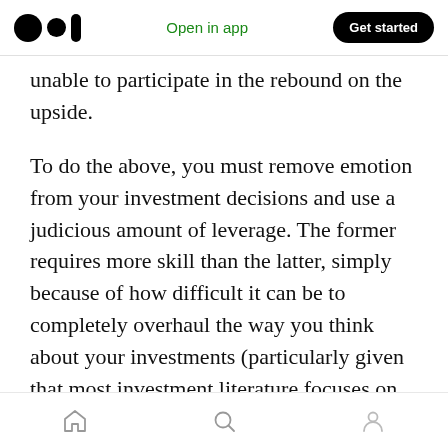Medium logo | Open in app | Get started
unable to participate in the rebound on the upside.
To do the above, you must remove emotion from your investment decisions and use a judicious amount of leverage. The former requires more skill than the latter, simply because of how difficult it can be to completely overhaul the way you think about your investments (particularly given that most investment literature focuses on arithmetic returns). Even worse is that all fiduciaries (i.e., money managers) are paid on yearly bonus cycles. If your money manager loses
Home | Search | Profile